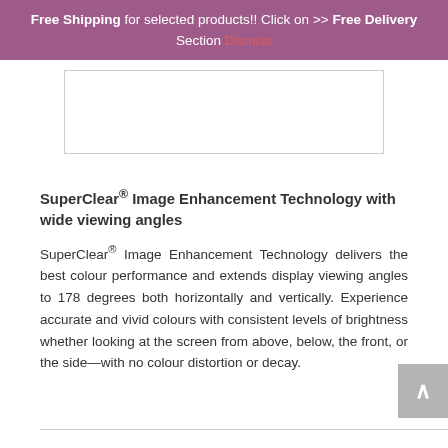Free Shipping for selected products!! Click on >> Free Delivery Section Dismiss
[Figure (other): White rectangular image placeholder with border]
SuperClear® Image Enhancement Technology with wide viewing angles
SuperClear® Image Enhancement Technology delivers the best colour performance and extends display viewing angles to 178 degrees both horizontally and vertically. Experience accurate and vivid colours with consistent levels of brightness whether looking at the screen from above, below, the front, or the side—with no colour distortion or decay.